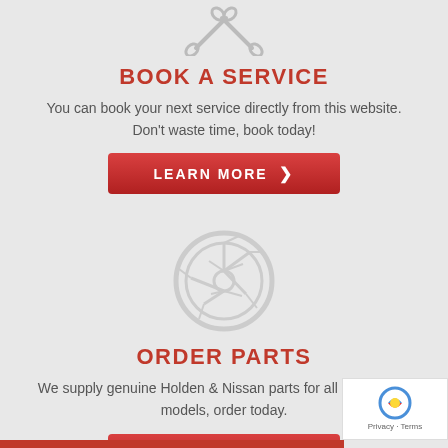[Figure (illustration): Wrench/tools icon in light gray outline style at the top of the page]
BOOK A SERVICE
You can book your next service directly from this website. Don't waste time, book today!
[Figure (illustration): Red button with text LEARN MORE and a chevron/arrow pointing right]
[Figure (illustration): Car wheel/tire icon in light gray outline style]
ORDER PARTS
We supply genuine Holden & Nissan parts for all makes and models, order today.
[Figure (illustration): Red button with text LEARN MORE and a chevron/arrow pointing right]
[Figure (illustration): reCAPTCHA privacy badge in bottom right corner]